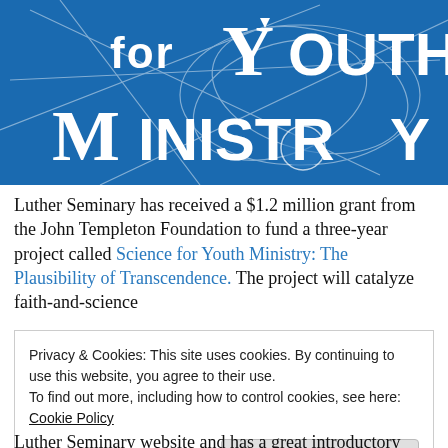[Figure (logo): Blue banner with white text reading 'for YOUTH MINISTRY' with abstract line art overlay on blue background]
Luther Seminary has received a $1.2 million grant from the John Templeton Foundation to fund a three-year project called Science for Youth Ministry: The Plausibility of Transcendence. The project will catalyze faith-and-science
Privacy & Cookies: This site uses cookies. By continuing to use this website, you agree to their use.
To find out more, including how to control cookies, see here: Cookie Policy
[Close and accept]
Luther Seminary website and has a great introductory